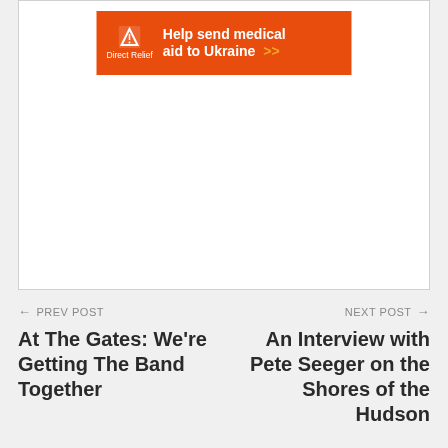[Figure (other): Direct Relief advertisement banner with orange background. Logo of Direct Relief (white icon and text) on left, bold white text 'Help send medical aid to Ukraine >>' on right.]
← PREV POST
At The Gates: We're Getting The Band Together
NEXT POST →
An Interview with Pete Seeger on the Shores of the Hudson